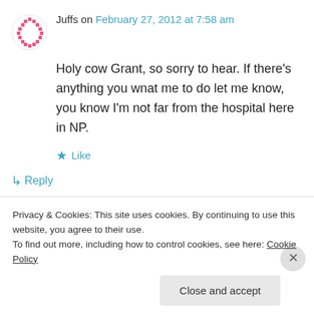Juffs on February 27, 2012 at 7:58 am
Holy cow Grant, so sorry to hear. If there's anything you wnat me to do let me know, you know I'm not far from the hospital here in NP.
★ Like
↳ Reply
Grant Rawlinson (Axe) on February 27, 2012
Privacy & Cookies: This site uses cookies. By continuing to use this website, you agree to their use.
To find out more, including how to control cookies, see here: Cookie Policy
Close and accept